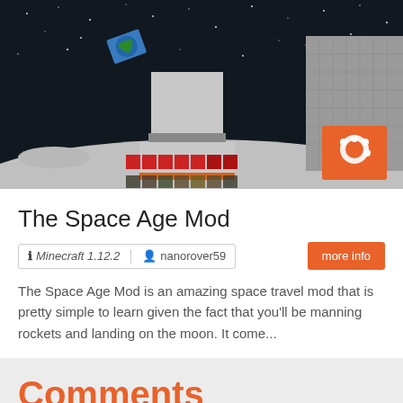[Figure (screenshot): Minecraft game screenshot showing a space/moon scene with a rocket-like structure built from gray blocks, red items at the base, orange thrusters, a floating book/earth item in a starry sky, and a large building on the right. Orange icon with paint palette in bottom-right corner.]
The Space Age Mod
ℹ Minecraft 1.12.2  👤 nanorover59   more info
The Space Age Mod is an amazing space travel mod that is pretty simple to learn given the fact that you'll be manning rockets and landing on the moon. It come...
Comments